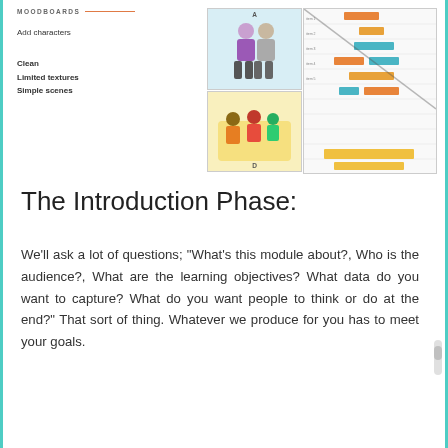[Figure (illustration): Moodboard section header with orange line, showing cartoon characters (two standing people labeled A, and a group scene labeled D) on the left image panel, and a Gantt chart timeline on the right image panel]
Add characters
Clean
Limited textures
Simple scenes
The Introduction Phase:
We'll ask a lot of questions; “What's this module about?, Who is the audience?, What are the learning objectives? What data do you want to capture? What do you want people to think or do at the end?” That sort of thing. Whatever we produce for you has to meet your goals.